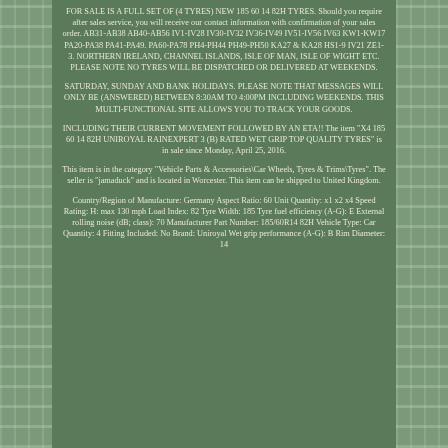FOR SALE IS A FULL SET OF (4 TYRES) NEW 185 60 14 82H TYRES. Should you require after sales service, you will receive our contact information with confirmation of your sales order. AB31-AB38 AB40-AB56 IV1-IV28 IV30-IV32 IV36-IV49 IV51-IV56 IV63 KW1-KW17 PA20-PA38 PA41-PA49. PA60-PA78 PH4-PH44 PH49-PH50 KA27 & KA28 HS1-9 IV21 ZE1-3. NORTHERN IRELAND, CHANNEL ISLANDS, ISLE OF MAN, ISLE OF WIGHT ETC. PLEASE NOTE NO TYRES WILL BE DISPATCHED OR DELIVERED AT WEEKENDS.
SATURDAY, SUNDAY AND BANK HOLIDAYS. PLEASE NOTE THAT MESSAGES WILL ONLY BE (ANSWERED) BETWEEN 8:30AM TO 4:00PM INCLUDING WEEKENDS. THIS MULTI-FUNCTIONAL SITE ALLOWS YOU TO TRACK YOUR GOODS.
INCLUDING THEIR CURRENT MOVEMENT FOLLOWED BY AN ETA!! The item "X4 185 60 14 82H UNIROYAL RAINEXPERT 3 (B) RATED WET GRIP TOP QUALITY TYRES" is in sale since Monday, April 25, 2016.
This item is in the category "Vehicle Parts & Accessories\Car Wheels, Tyres & Trims\Tyres". The seller is "jamaduck" and is located in Worcester. This item can be shipped to United Kingdom.
Country/Region of Manufacture: Germany Aspect Ratio: 60 Unit Quantity: x1 x2 x4 Speed Rating: H: max 130 mph Load Index: 82 Tyre Width: 185 Tyre fuel efficiency (A-G): E External rolling noise (dB; class): 70 Manufacturer Part Number: 185/60R14 82H Vehicle Type: Car Quantity: 4 Fitting Included: No Brand: Uniroyal Wet grip performance (A-G): B Rim Diameter: 14